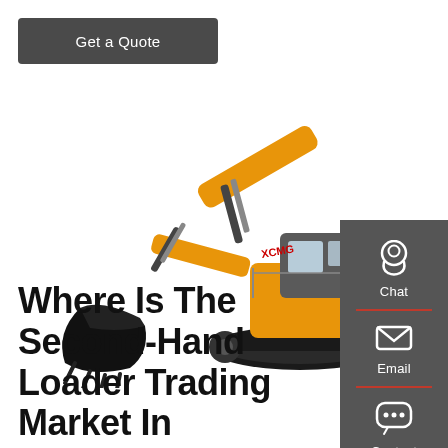[Figure (other): Button labeled 'Get a Quote' with dark gray background and white text, positioned top-left]
[Figure (photo): XCMG brand yellow excavator/crawler hydraulic excavator on white background, showing full side profile with boom arm extended and bucket lowered]
[Figure (infographic): Vertical dark gray sidebar with three icons and labels: Chat (headset icon), Email (envelope icon), Contact (speech bubble icon), separated by red horizontal dividers]
Where Is The Second-Hand Loader Trading Market In